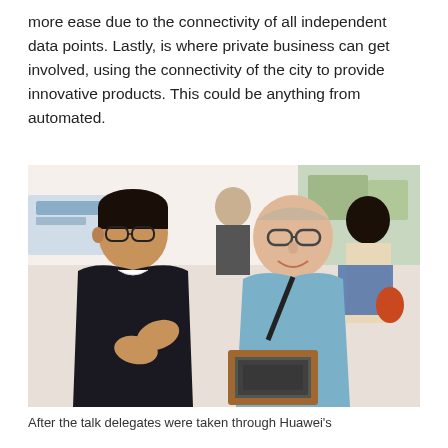more ease due to the connectivity of all independent data points. Lastly, is where private business can get involved, using the connectivity of the city to provide innovative products. This could be anything from automated.
[Figure (photo): Photo of people at an event or exhibition. A young Asian man with glasses and a lanyard is shown from behind/side, gesturing with his hands. Facing him is an older Western man with glasses wearing a light blue shirt and a bag, smiling. He appears to be presenting a framed item. In the background are more people and exhibition displays.]
After the talk delegates were taken through Huawei's